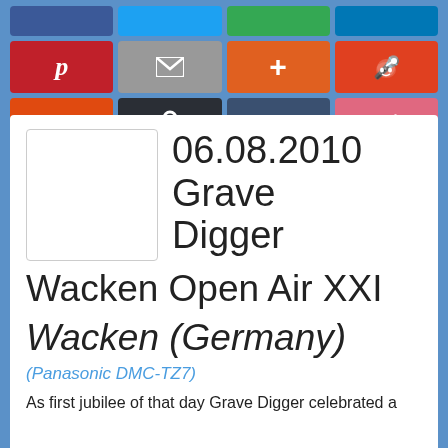[Figure (screenshot): Social media sharing buttons row 1 (partial): Facebook, Twitter, Google+, LinkedIn]
[Figure (screenshot): Social media sharing buttons row 2: Pinterest (red), Email (gray), Plus/Google+ (orange), Reddit (orange-red)]
[Figure (screenshot): Social media sharing buttons row 3: StumbleUpon (orange), Lock/Private (dark), Tumblr (dark blue), Weibo (pink-red)]
[Figure (photo): Album or concert thumbnail image placeholder (white square with border)]
06.08.2010 Grave Digger
Wacken Open Air XXI
Wacken (Germany)
(Panasonic DMC-TZ7)
As first jubilee of that day Grave Digger celebrated a